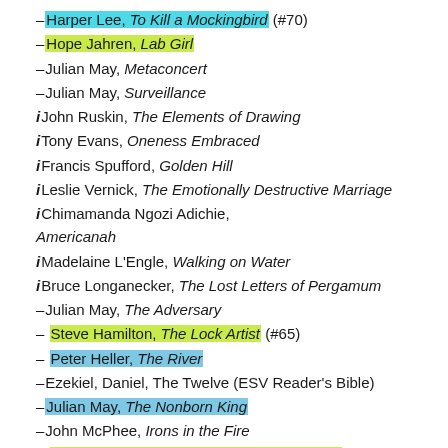– Harper Lee, To Kill a Mockingbird (#70)
– Hope Jahren, Lab Girl
– Julian May, Metaconcert
– Julian May, Surveillance
i John Ruskin, The Elements of Drawing
i Tony Evans, Oneness Embraced
i Francis Spufford, Golden Hill
i Leslie Vernick, The Emotionally Destructive Marriage
i Chimamanda Ngozi Adichie, Americanah
i Madelaine L'Engle, Walking on Water
i Bruce Longanecker, The Lost Letters of Pergamum
– Julian May, The Adversary
– Steve Hamilton, The Lock Artist (#65)
– Peter Heller, The River
– Ezekiel, Daniel, The Twelve (ESV Reader's Bible)
– Julian May, The Nonborn King
– John McPhee, Irons in the Fire
– Amy Chua, Battle Hymn of the Tiger Mother (#60)